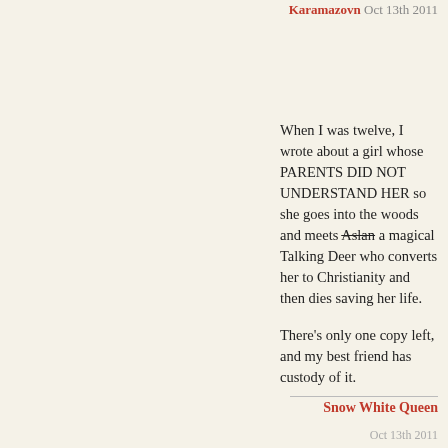Karamazovn Oct 13th 2011
When I was twelve, I wrote about a girl whose PARENTS DID NOT UNDERSTAND HER so she goes into the woods and meets Aslan a magical Talking Deer who converts her to Christianity and then dies saving her life.

There's only one copy left, and my best friend has custody of it.
Snow White Queen
Oct 13th 2011